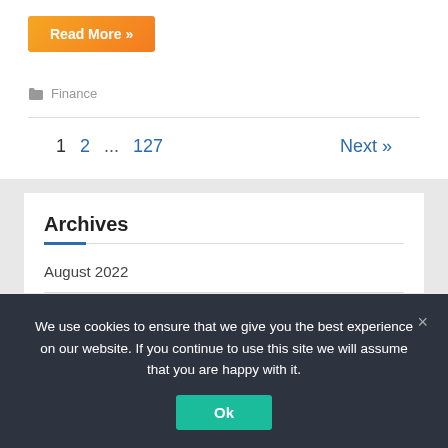Read More »
Finance
1  2  ...  127  Next »
Archives
August 2022
We use cookies to ensure that we give you the best experience on our website. If you continue to use this site we will assume that you are happy with it.
Ok